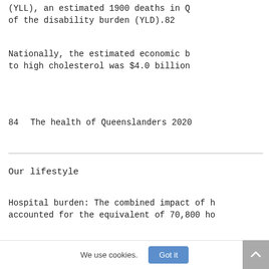(YLL), an estimated 1900 deaths in Q of the disability burden (YLD).82
Nationally, the estimated economic b to high cholesterol was $4.0 billion
84    The health of Queenslanders 2020
Our lifestyle
Hospital burden: The combined impact of h accounted for the equivalent of 70,800 ho